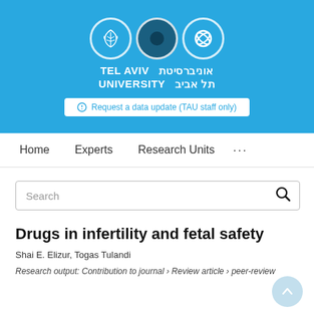[Figure (logo): Tel Aviv University logo with three circles (leaf, solid, swirl) and bilingual text in English and Hebrew]
Request a data update (TAU staff only)
Home   Experts   Research Units   ...
Search
Drugs in infertility and fetal safety
Shai E. Elizur, Togas Tulandi
Research output: Contribution to journal › Review article › peer-review